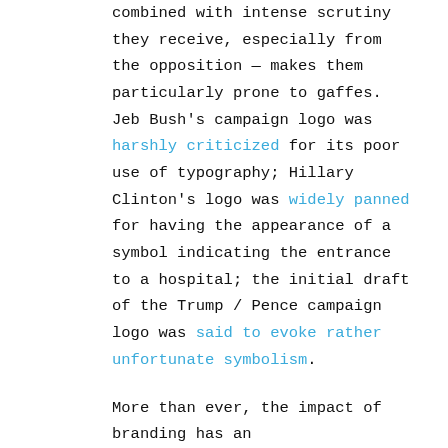combined with intense scrutiny they receive, especially from the opposition — makes them particularly prone to gaffes. Jeb Bush's campaign logo was harshly criticized for its poor use of typography; Hillary Clinton's logo was widely panned for having the appearance of a symbol indicating the entrance to a hospital; the initial draft of the Trump / Pence campaign logo was said to evoke rather unfortunate symbolism.
More than ever, the impact of branding has an